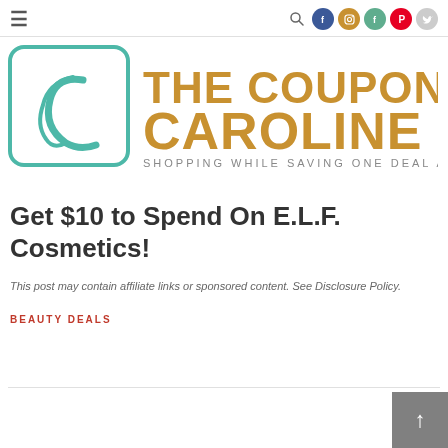Navigation and social icons header
[Figure (logo): The Coupon Caroline logo — teal square with stylized C on left, gold text THE COUPON CAROLINE and tagline SHOPPING WHILE SAVING ONE DEAL AT A TIME on right]
Get $10 to Spend On E.L.F. Cosmetics!
This post may contain affiliate links or sponsored content. See Disclosure Policy.
BEAUTY DEALS